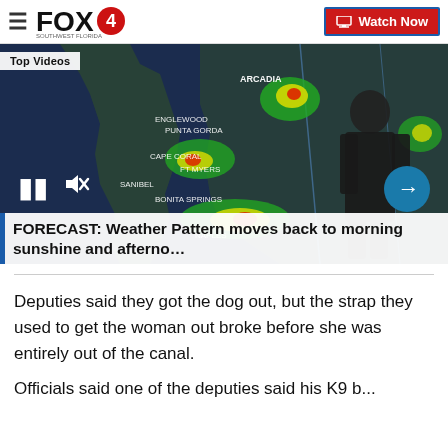FOX4 — Watch Now
[Figure (screenshot): FOX4 weather forecast video player showing a meteorologist in front of a radar map of Southwest Florida with storm cells visible over Cape Coral, Sanibel, Naples, and surrounding areas. Labels include ARCADIA, ENGLEWOOD, PUNTA GORDA, CAPE CORAL, FORT MYERS, SANIBEL, BONITA SPRINGS, NAPLES. Pause and mute controls visible bottom-left, next arrow button bottom-right.]
Top Videos
FORECAST: Weather Pattern moves back to morning sunshine and afterno…
Deputies said they got the dog out, but the strap they used to get the woman out broke before she was entirely out of the canal.
Officials said one of the deputies said his K9 b...